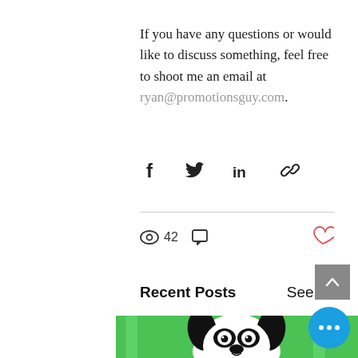If you have any questions or would like to discuss something, feel free to shoot me an email at ryan@promotionsguy.com.
[Figure (infographic): Social share icons: Facebook (f), Twitter (bird), LinkedIn (in), and a chain/link icon]
42 views, 0 comments, 0 likes
Recent Posts
See All
[Figure (illustration): Black and white cartoon Boston Terrier dog illustration on a green background with white vertical stripes]